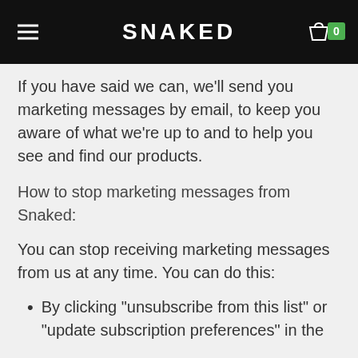SNAKED
If you have said we can, we’ll send you marketing messages by email, to keep you aware of what we’re up to and to help you see and find our products.
How to stop marketing messages from Snaked:
You can stop receiving marketing messages from us at any time. You can do this:
By clicking "unsubscribe from this list" or "update subscription preferences" in the footer of any marketing email we send you.